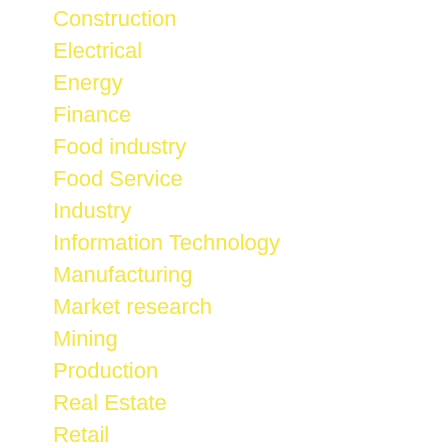Construction
Electrical
Energy
Finance
Food industry
Food Service
Industry
Information Technology
Manufacturing
Market research
Mining
Production
Real Estate
Retail